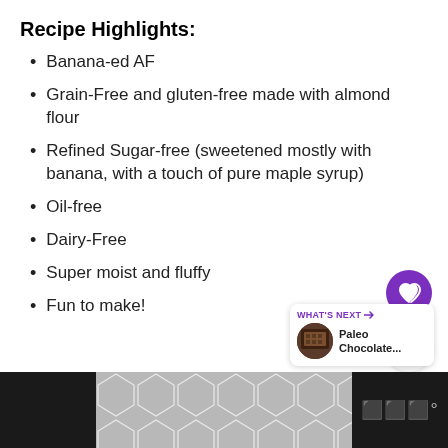Recipe Highlights:
Banana-ed AF
Grain-Free and gluten-free made with almond flour
Refined Sugar-free (sweetened mostly with banana, with a touch of pure maple syrup)
Oil-free
Dairy-Free
Super moist and fluffy
Fun to make!
[Figure (other): UI overlay: heart/save button (purple circle with heart icon), share button (light circle with share icon), and a 'WHAT'S NEXT' card showing 'Paleo Chocolate...' with a thumbnail image]
[Figure (other): Bottom bar with dark side panels and a geometric diamond/chevron pattern in gray in the center, with a logo mark on the right]